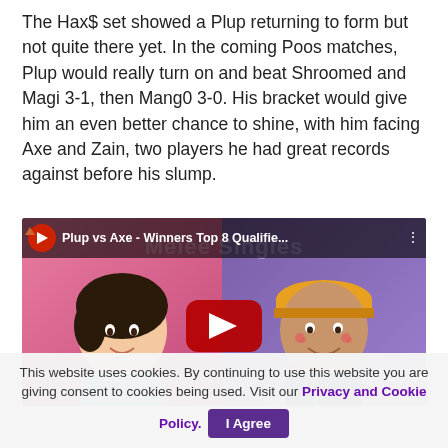The Hax$ set showed a Plup returning to form but not quite there yet. In the coming Poos matches, Plup would really turn on and beat Shroomed and Magi 3-1, then Mang0 3-0. His bracket would give him an even better chance to shine, with him facing Axe and Zain, two players he had great records against before his slump.
[Figure (screenshot): YouTube video thumbnail showing two illustrated characters (Plup and Axe) side by side with a YouTube play button overlay. Title bar reads: Plup vs Axe - Winners Top 8 Qualifie... with a tournament logo on the left. Background text says Melee Singles.]
This website uses cookies. By continuing to use this website you are giving consent to cookies being used. Visit our Privacy and Cookie Policy.   I Agree